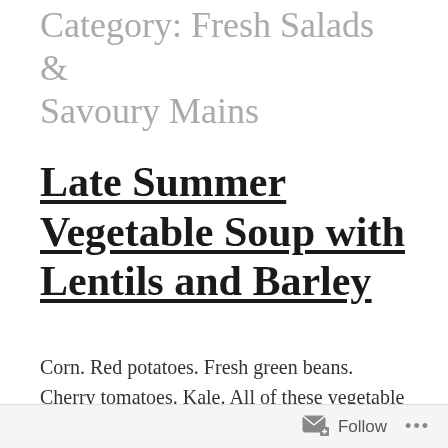Category: Fresh Salads & Savoury Mains
Late Summer Vegetable Soup with Lentils and Barley
Corn. Red potatoes. Fresh green beans. Cherry tomatoes. Kale. All of these vegetable gems are in season now, and all of them are in this soup. Sometimes it can be hard to a) figure out how to